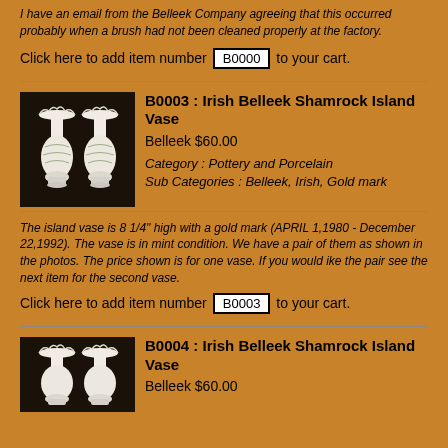I have an email from the Belleek Company agreeing that this occurred probably when a brush had not been cleaned properly at the factory.
Click here to add item number B0000 to your cart.
B0003 : Irish Belleek Shamrock Island Vase | Belleek $60.00 | Category : Pottery and Porcelain | Sub Categories : Belleek, Irish, Gold mark
[Figure (photo): Two white Irish Belleek Shamrock Island Vases with ruffled tops on dark background]
The island vase is 8 1/4" high with a gold mark (APRIL 1,1980 - December 22,1992). The vase is in mint condition. We have a pair of them as shown in the photos. The price shown is for one vase. If you would ike the pair see the next item for the second vase.
Click here to add item number B0003 to your cart.
B0004 : Irish Belleek Shamrock Island Vase | Belleek $60.00
[Figure (photo): Two white Irish Belleek Shamrock Island Vases with ruffled tops on dark background]